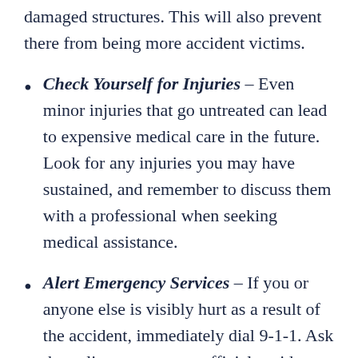damaged structures. This will also prevent there from being more accident victims.
Check Yourself for Injuries – Even minor injuries that go untreated can lead to expensive medical care in the future. Look for any injuries you may have sustained, and remember to discuss them with a professional when seeking medical assistance.
Alert Emergency Services – If you or anyone else is visibly hurt as a result of the accident, immediately dial 9-1-1. Ask the police to create an official accident report – a police report is often your best chance